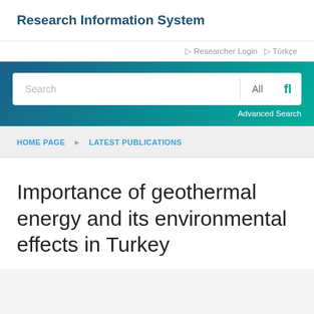Research Information System
Researcher Login  Türkçe
[Figure (screenshot): Search bar with gradient blue-to-teal background, text input field showing 'Search', dropdown showing 'All', search icon, and 'Advanced Search' link]
HOME PAGE  LATEST PUBLICATIONS
Importance of geothermal energy and its environmental effects in Turkey